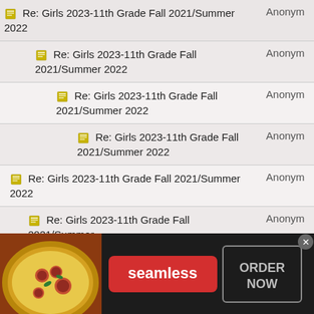| Subject | Author |
| --- | --- |
| Re: Girls 2023-11th Grade Fall 2021/Summer 2022 | Anonym... |
| Re: Girls 2023-11th Grade Fall 2021/Summer 2022 | Anonym... |
| Re: Girls 2023-11th Grade Fall 2021/Summer 2022 | Anonym... |
| Re: Girls 2023-11th Grade Fall 2021/Summer 2022 | Anonym... |
| Re: Girls 2023-11th Grade Fall 2021/Summer 2022 | Anonym... |
| Re: Girls 2023-11th Grade Fall 2021/Summer 2022 | Anonym... |
| Re: Girls 2023-11th Grade Fall 2021/Summer 2022 | Anonym... |
| Re: Girls 2023-11th Grade Fall | Anonym... |
[Figure (photo): Seamless food delivery advertisement banner with pizza image, Seamless logo, and ORDER NOW button]